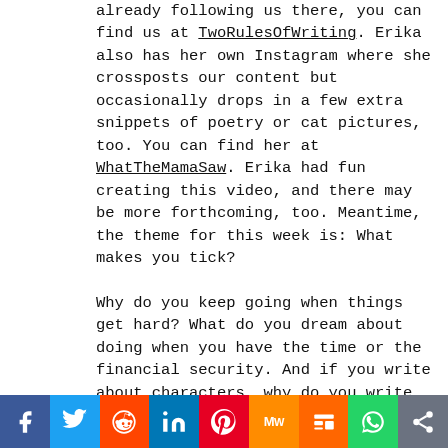already following us there, you can find us at TwoRulesOfWriting. Erika also has her own Instagram where she crossposts our content but occasionally drops in a few extra snippets of poetry or cat pictures, too. You can find her at WhatTheMamaSaw. Erika had fun creating this video, and there may be more forthcoming, too. Meantime, the theme for this week is: What makes you tick?
Why do you keep going when things get hard? What do you dream about doing when you have the time or the financial security. And if you write about characters, why do you write them that way? What part of you do they represent? What do they allow you to explore?
New Features
We're also starting to consolidate some of our stories by theme. This week we launched The Rainbow Collection